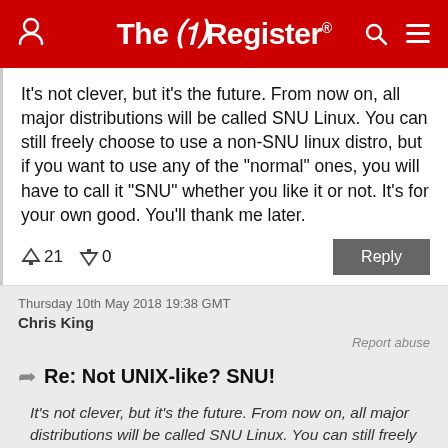The Register
It's not clever, but it's the future. From now on, all major distributions will be called SNU Linux. You can still freely choose to use a non-SNU linux distro, but if you want to use any of the "normal" ones, you will have to call it "SNU" whether you like it or not. It's for your own good. You'll thank me later.
↑21  ↓0   Reply
Thursday 10th May 2018 19:38 GMT
Chris King
Report abuse
Re: Not UNIX-like? SNU!
It's not clever, but it's the future. From now on, all major distributions will be called SNU Linux. You can still freely choose to use a non-SNU linux distro, but if you want to use any of the "normal"